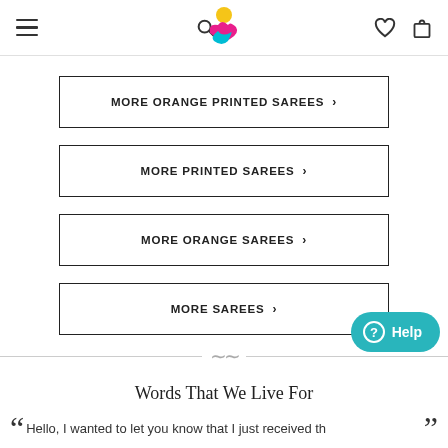Navigation bar with menu, search, logo, heart, and bag icons
MORE ORANGE PRINTED SAREES >
MORE PRINTED SAREES >
MORE ORANGE SAREES >
MORE SAREES >
[Figure (other): Help chat button in teal/cyan color with question mark icon]
[Figure (illustration): Decorative ornament divider with wave/tilde shapes]
Words That We Live For
Hello, I wanted to let you know that I just received th